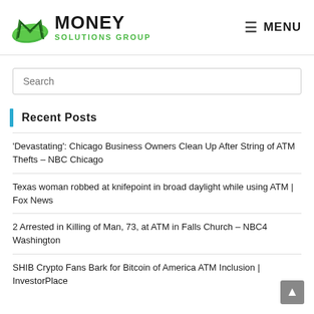[Figure (logo): Money Solutions Group logo with green M icon and bold MONEY SOLUTIONS GROUP text]
MENU
Search
Recent Posts
'Devastating': Chicago Business Owners Clean Up After String of ATM Thefts – NBC Chicago
Texas woman robbed at knifepoint in broad daylight while using ATM | Fox News
2 Arrested in Killing of Man, 73, at ATM in Falls Church – NBC4 Washington
SHIB Crypto Fans Bark for Bitcoin of America ATM Inclusion | InvestorPlace